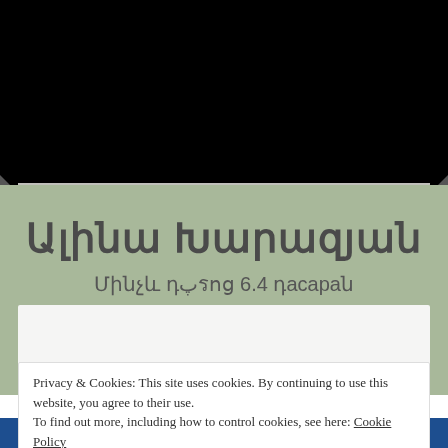[Figure (photo): Black and white photo showing hair and textured fabric/knit material]
Ալինա Խարազյան
Մինչև դպրոց 6.4 դասարան
ԸՆԴհանուր
Privacy & Cookies: This site uses cookies. By continuing to use this website, you agree to their use.
To find out more, including how to control cookies, see here: Cookie Policy
Close and accept